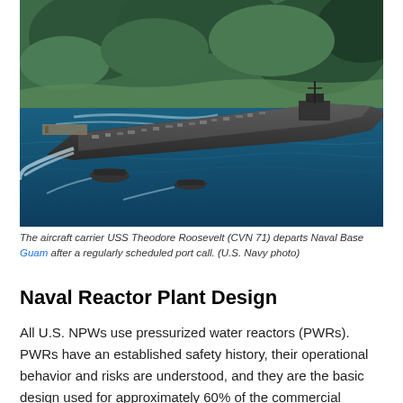[Figure (photo): Aerial photograph of aircraft carrier USS Theodore Roosevelt (CVN 71) departing Naval Base Guam, surrounded by blue water and green vegetation, with aircraft on deck and escort vessels nearby.]
The aircraft carrier USS Theodore Roosevelt (CVN 71) departs Naval Base Guam after a regularly scheduled port call. (U.S. Navy photo)
Naval Reactor Plant Design
All U.S. NPWs use pressurized water reactors (PWRs). PWRs have an established safety history, their operational behavior and risks are understood, and they are the basic design used for approximately 60% of the commercial nuclear power